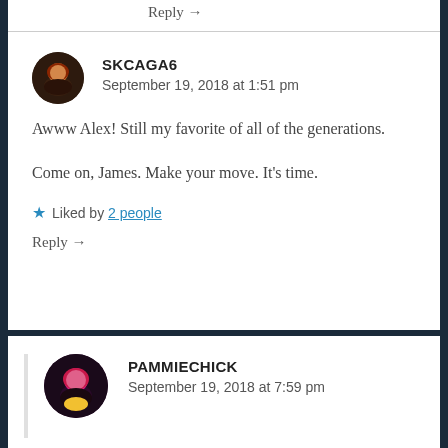Reply →
SKCAGA6
September 19, 2018 at 1:51 pm
Awww Alex! Still my favorite of all of the generations.

Come on, James. Make your move. It's time.
★ Liked by 2 people
Reply →
PAMMIECHICK
September 19, 2018 at 7:59 pm